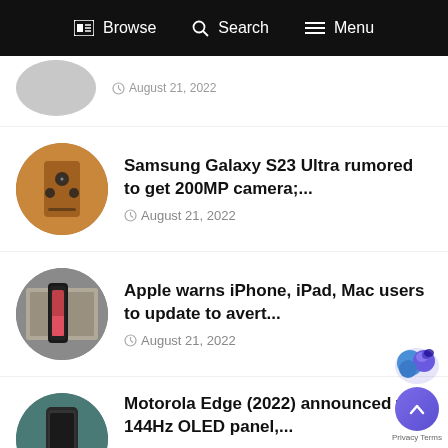Browse  Search  Menu
[Figure (photo): Partial circular thumbnail of a phone image, cropped at top]
© August 21, 2022 (partial, top article)
[Figure (photo): Circular thumbnail of Samsung Galaxy S23 Ultra in brown/gold color]
Samsung Galaxy S23 Ultra rumored to get 200MP camera;...
August 21, 2022
[Figure (photo): Circular thumbnail of iPhone on desk with accessories]
Apple warns iPhone, iPad, Mac users to update to avert...
August 21, 2022
[Figure (photo): Circular thumbnail of Motorola Edge 2022 phone on teal background]
Motorola Edge (2022) announced with 144Hz OLED panel,...